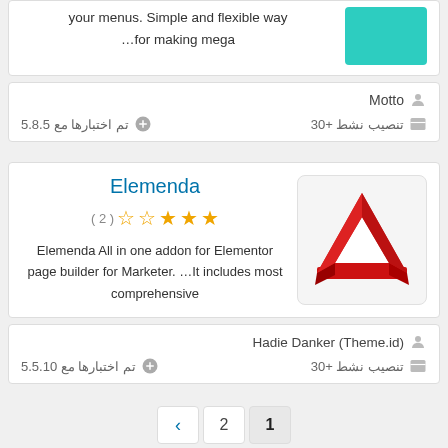your menus. Simple and flexible way ...for making mega
Motto
30+ تنصيب نشط
تم اختبارها مع 5.8.5
Elemenda
(2) ★★☆☆☆ — rating
Elemenda All in one addon for Elementor page builder for Marketer. ...It includes most comprehensive
[Figure (logo): Red 3D triangular logo for Elemenda plugin]
Hadie Danker (Theme.id)
30+ تنصيب نشط
تم اختبارها مع 5.5.10
Pagination: ‹ 2 1